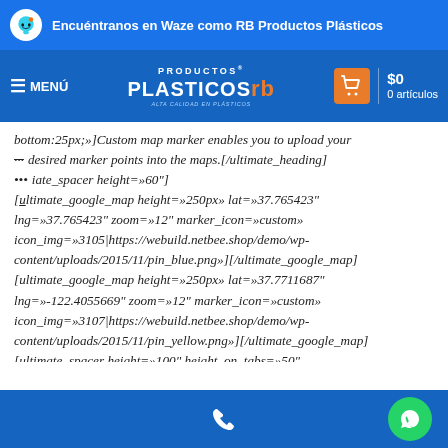Encuéntranos en Waze como RB Productos Plásticos
[Figure (logo): Productos Plásticos RB logo with cart and price display showing $0, 0 artículos]
bottom:25px;»]Custom map marker enables you to upload your desired marker points into the maps.[/ultimate_heading]
[ultimate_spacer height=»60"]
[ultimate_google_map height=»250px» lat=»37.765423" lng=»37.765423" zoom=»12" marker_icon=»custom» icon_img=»3105|https://webuild.netbee.shop/demo/wp-content/uploads/2015/11/pin_blue.png»][/ultimate_google_map]
[ultimate_google_map height=»250px» lat=»37.7711687" lng=»-122.4055669" zoom=»12" marker_icon=»custom» icon_img=»3107|https://webuild.netbee.shop/demo/wp-content/uploads/2015/11/pin_yellow.png»][/ultimate_google_map]
[ultimate_spacer height=»100" height_on_tabs=»50" height_on_tabs_portrait=»50" height_on_mob_landscape=»25"
Phone and WhatsApp contact icons